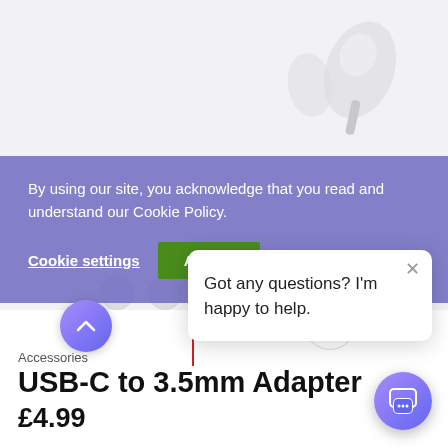[Figure (screenshot): White earbuds product image on light grey background]
By using our site, you acknowledge that you read and understand our Cookie Policy.
Cookie settings
Accept
[Figure (logo): Fonez2All chat widget logo bubble]
Got any questions? I'm happy to help.
[Figure (logo): FONEZ2ALL logo with red vertical line]
Accessories
USB-C to 3.5mm Adapter
£4.99